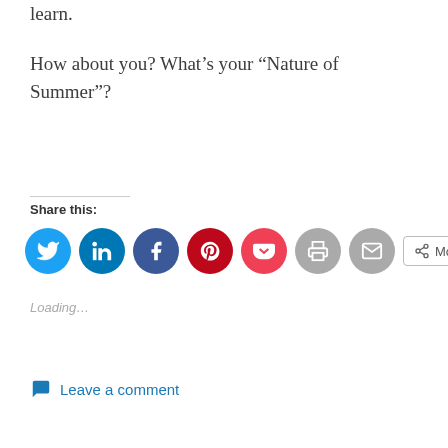learn.
How about you? What's your “Nature of Summer”?
Share this:
[Figure (other): Social share buttons: Twitter, LinkedIn, Facebook, Pinterest, Pocket, Print, Email, More]
Loading...
Leave a comment